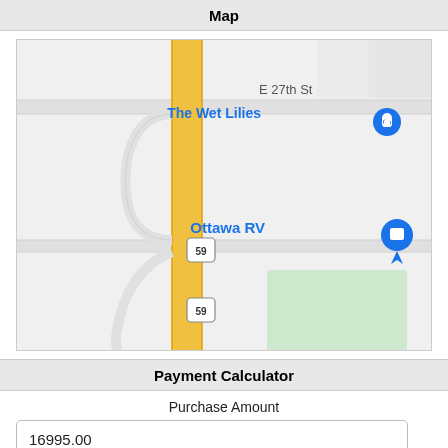Map
[Figure (map): Street map showing a yellow highway (Route 59) running north-south, with markers for 'The Wet Lilies' near E 27th St at the top, and 'Ottawa RV' in the middle. A green rectangular area is visible in the lower right portion of the map.]
Payment Calculator
Purchase Amount
16995.00